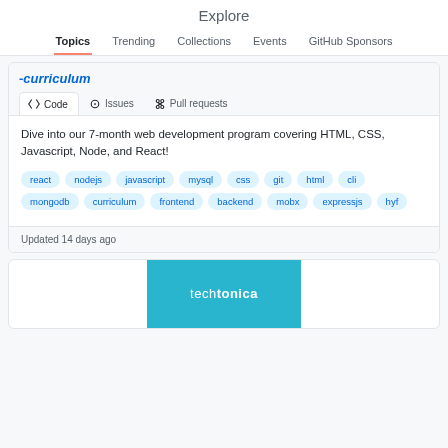Explore
Topics  Trending  Collections  Events  GitHub Sponsors
-curriculum
<> Code  O Issues  {1 Pull requests
Dive into our 7-month web development program covering HTML, CSS, Javascript, Node, and React!
react
nodejs
javascript
mysql
css
git
html
cli
mongodb
curriculum
frontend
backend
mobx
expressjs
hyf
Updated 14 days ago
[Figure (logo): techtonica logo on teal/cyan background]